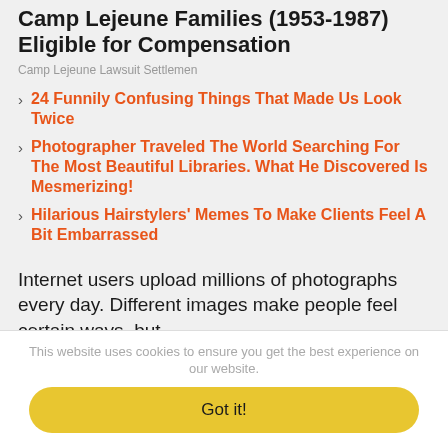Camp Lejeune Families (1953-1987) Eligible for Compensation
Camp Lejeune Lawsuit Settlemen
24 Funnily Confusing Things That Made Us Look Twice
Photographer Traveled The World Searching For The Most Beautiful Libraries. What He Discovered Is Mesmerizing!
Hilarious Hairstylers' Memes To Make Clients Feel A Bit Embarrassed
Internet users upload millions of photographs every day. Different images make people feel certain ways, but
This website uses cookies to ensure you get the best experience on our website.
Got it!